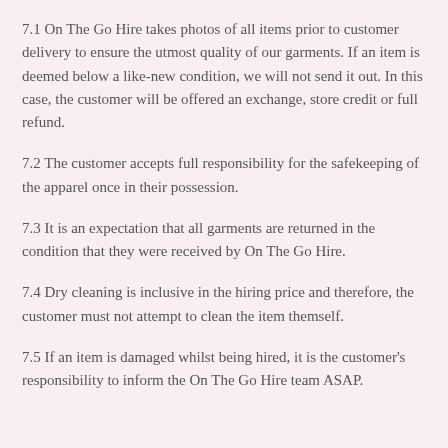7.1 On The Go Hire takes photos of all items prior to customer delivery to ensure the utmost quality of our garments. If an item is deemed below a like-new condition, we will not send it out. In this case, the customer will be offered an exchange, store credit or full refund.
7.2 The customer accepts full responsibility for the safekeeping of the apparel once in their possession.
7.3 It is an expectation that all garments are returned in the condition that they were received by On The Go Hire.
7.4 Dry cleaning is inclusive in the hiring price and therefore, the customer must not attempt to clean the item themself.
7.5 If an item is damaged whilst being hired, it is the customer's responsibility to inform the On The Go Hire team ASAP.